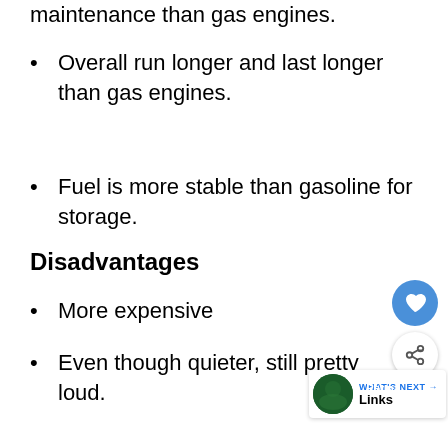maintenance than gas engines.
Overall run longer and last longer than gas engines.
Fuel is more stable than gasoline for storage.
Disadvantages
More expensive
Even though quieter, still pretty loud.